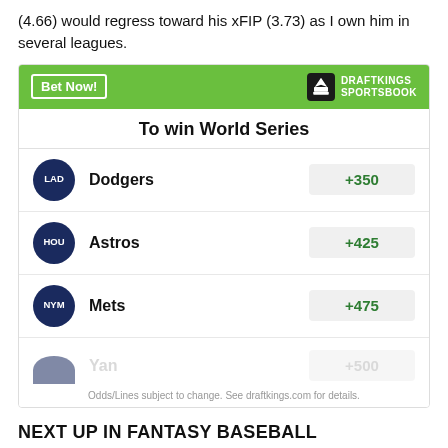(4.66) would regress toward his xFIP (3.73) as I own him in several leagues.
[Figure (infographic): DraftKings Sportsbook widget showing World Series odds: Dodgers +350, Astros +425, Mets +475, Yankees (partially visible) +500]
NEXT UP IN FANTASY BASEBALL
Mark's Top 250 MLB Prospects